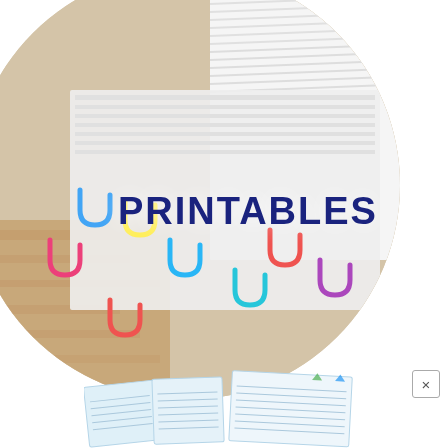[Figure (photo): Circular cropped photo of stacks of papers/documents held together with colorful paper clips (blue, yellow, red, pink, purple) on a wooden surface. The circle occupies most of the upper portion of the page.]
PRINTABLES
[Figure (photo): Partial view of printable document cards/sheets arranged at the bottom of the page, partially cropped. Cards appear to be light blue/white printable templates.]